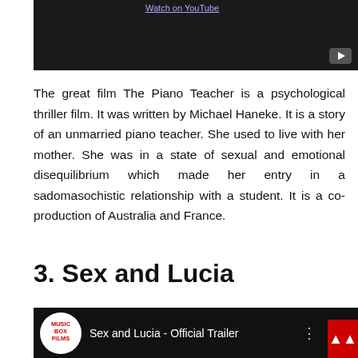[Figure (screenshot): Dark YouTube video embed with Watch on YouTube link and play button in bottom right corner]
The great film The Piano Teacher is a psychological thriller film. It was written by Michael Haneke. It is a story of an unmarried piano teacher. She used to live with her mother. She was in a state of sexual and emotional disequilibrium which made her entry in a sadomasochistic relationship with a student. It is a co-production of Australia and France.
3. Sex and Lucia
[Figure (screenshot): YouTube video embed showing Sex and Lucia - Official Trailer with Music Box Films logo on left side]